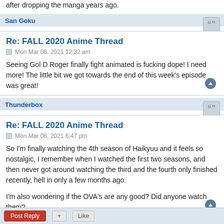after dropping the manga years ago.
San Goku
Re: FALL 2020 Anime Thread
Mon Mar 08, 2021 12:32 am
Seeing Gol D Roger finally fight animated is fucking dope! I need more! The little bit we got towards the end of this week's episode was great!
Thunderbox
Re: FALL 2020 Anime Thread
Mon Mar 08, 2021 6:47 pm
So I'm finally watching the 4th season of Haikyuu and it feels so nostalgic, I remember when I watched the first two seasons, and then never got around watching the third and the fourth only finished recently, hell in only a few months ago.

I'm also wondering if the OVA's are any good? Did anyone watch them?